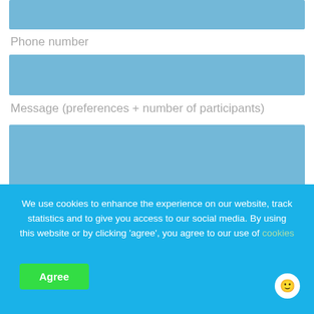[Figure (other): Blue input field (top, partially visible)]
Phone number
[Figure (other): Blue input field for phone number]
Message (preferences + number of participants)
[Figure (other): Blue textarea input for message]
We use cookies to enhance the experience on our website, track statistics and to give you access to our social media. By using this website or by clicking 'agree', you agree to our use of cookies
Agree